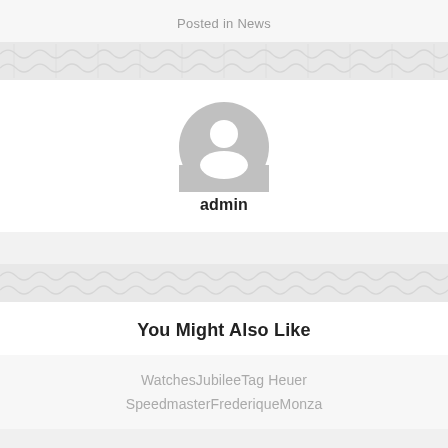Posted in News
[Figure (illustration): Generic user avatar placeholder icon — a grey circle with a white silhouette of a person (head and shoulders)]
admin
You Might Also Like
Watches
Jubilee
Tag Heuer
Speedmaster
Frederique
Monza